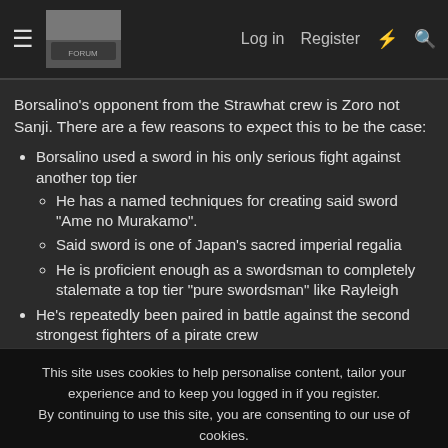≡  [logo]  Log in  Register  ⚡  🔍
Borsalino's opponent from the Strawhat crew is Zoro not Sanji. There are a few reasons to expect this to be the case:
Borsalino used a sword in his only serious fight against another top tier
He has a named techniques for creating said sword "Ame no Murakamo".
Said sword is one of Japan's sacred imperial regalia
He is proficient enough as a swordsman to completely stalemate a top tier "pure swordsman" like Rayleigh
He's repeatedly been paired in battle against the second strongest fighters of a pirate crew
With Rayleigh at Sabaody Archipelago
This site uses cookies to help personalise content, tailor your experience and to keep you logged in if you register.
By continuing to use this site, you are consenting to our use of cookies.